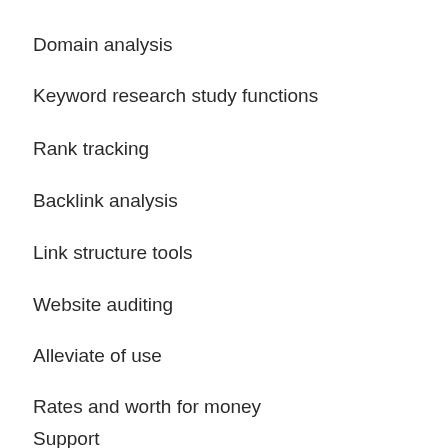Domain analysis
Keyword research study functions
Rank tracking
Backlink analysis
Link structure tools
Website auditing
Alleviate of use
Rates and worth for money
Support